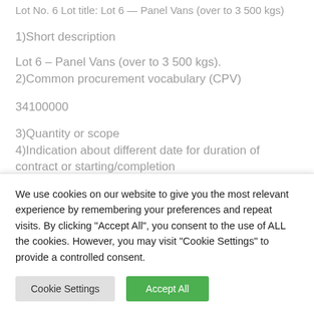Lot No. 6 Lot title: Lot 6 — Panel Vans (over to 3 500 kgs)
1)Short description
Lot 6 — Panel Vans (over to 3 500 kgs).
2)Common procurement vocabulary (CPV)
34100000
3)Quantity or scope
4)Indication about different date for duration of contract or starting/completion
We use cookies on our website to give you the most relevant experience by remembering your preferences and repeat visits. By clicking "Accept All", you consent to the use of ALL the cookies. However, you may visit "Cookie Settings" to provide a controlled consent.